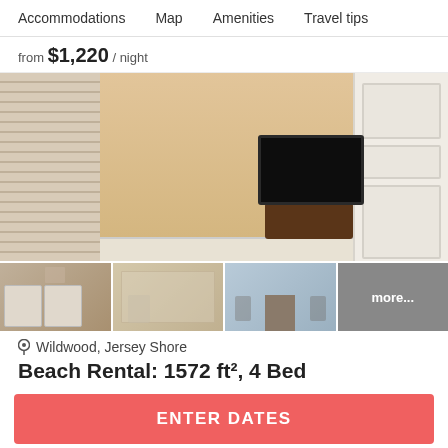Accommodations   Map   Amenities   Travel tips
from $1,220 / night
[Figure (photo): Interior room photo showing a living room with beige walls, patterned window blinds on left, a flat-screen TV on a wooden stand in the center, white wainscoting at the base, and a white door on the right. Below are four thumbnails: laundry room with washers, bathroom, living room with fireplace, and a 'more...' overlay.]
Wildwood, Jersey Shore
Beach Rental: 1572 ft², 4 Bed
ENTER DATES
First Floor, Spacious 4 bedroom, 2 bath in a duplex. 1.5